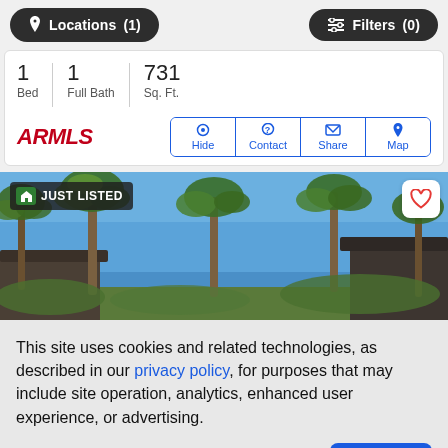Locations (1)  Filters (0)
1 Bed  1 Full Bath  731 Sq. Ft.
[Figure (logo): ARMLS logo in red italic bold text]
Hide  Contact  Share  Map
[Figure (photo): Outdoor photo of palm trees against blue sky with building rooflines visible. Badge reads JUST LISTED.]
This site uses cookies and related technologies, as described in our privacy policy, for purposes that may include site operation, analytics, enhanced user experience, or advertising.
Manage Preferences  Accept